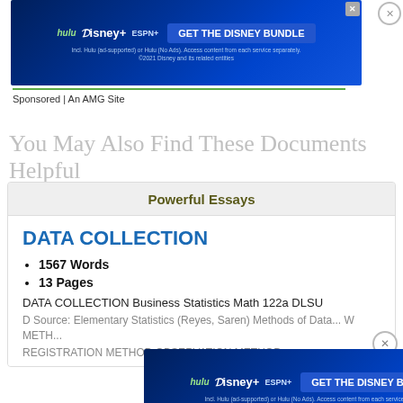[Figure (other): Disney Bundle advertisement banner showing Hulu, Disney+, ESPN+ logos with 'GET THE DISNEY BUNDLE' call to action button]
Sponsored | An AMG Site
You May Also Find These Documents Helpful
Powerful Essays
DATA COLLECTION
1567 Words
13 Pages
DATA COLLECTION Business Statistics Math 122a DLSU D Source: Elementary Statistics (Reyes, Saren) Methods of Data... W METH... REGISTRATION METHOD OBSERVATION METHOD